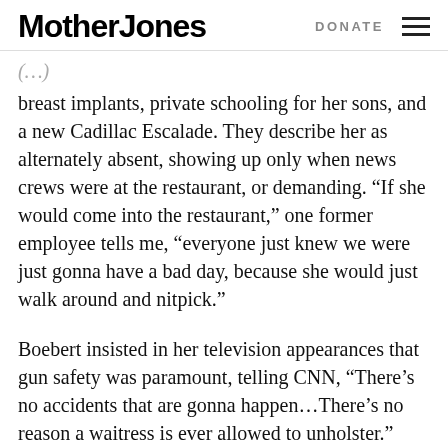Mother Jones | DONATE
breast implants, private schooling for her sons, and a new Cadillac Escalade. They describe her as alternately absent, showing up only when news crews were at the restaurant, or demanding. “If she would come into the restaurant,” one former employee tells me, “everyone just knew we were just gonna have a bad day, because she would just walk around and nitpick.”
Boebert insisted in her television appearances that gun safety was paramount, telling CNN, “There’s no accidents that are gonna happen…There’s no reason a waitress is ever allowed to unholster.” Most workers describe Boebert as consistently safe with